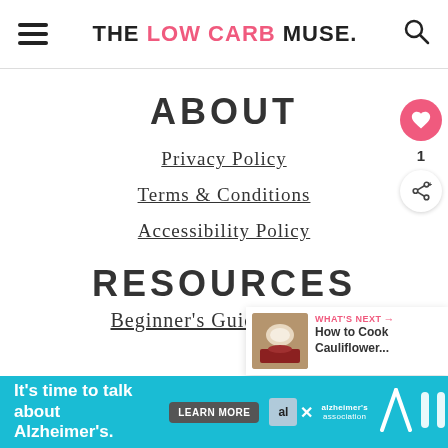THE LOW CARB MUSE.
ABOUT
Privacy Policy
Terms & Conditions
Accessibility Policy
RESOURCES
Beginner's Guide to Keto
[Figure (other): What's Next panel: thumbnail image of cauliflower dish, label 'WHAT'S NEXT', text 'How to Cook Cauliflower...']
[Figure (other): Advertisement banner: teal background, text 'It's time to talk about Alzheimer's.', LEARN MORE button, Alzheimer's Association logo]